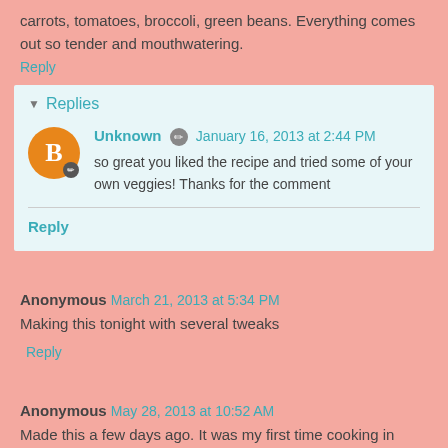carrots, tomatoes, broccoli, green beans. Everything comes out so tender and mouthwatering.
Reply
Replies
Unknown  January 16, 2013 at 2:44 PM
so great you liked the recipe and tried some of your own veggies! Thanks for the comment
Reply
Anonymous  March 21, 2013 at 5:34 PM
Making this tonight with several tweaks
Reply
Anonymous  May 28, 2013 at 10:52 AM
Made this a few days ago. It was my first time cooking in